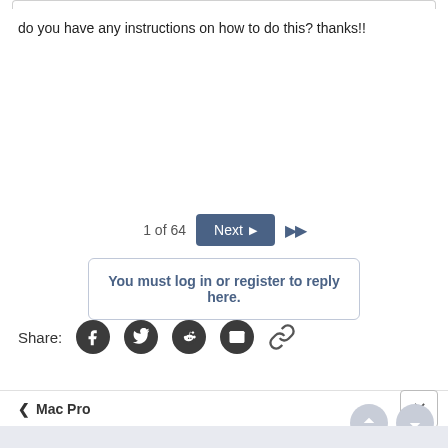do you have any instructions on how to do this? thanks!!
1 of 64  Next ▶  ▶▶
You must log in or register to reply here.
Share:
‹ Mac Pro
[Figure (screenshot): Social share icons: Facebook, Twitter, Reddit, Email, Link]